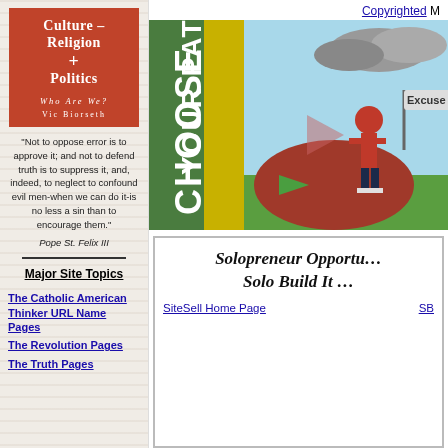[Figure (illustration): Book cover: red/orange background with text 'Culture - Religion + Politics, Who Are We?, Vic Biorseth']
"Not to oppose error is to approve it; and not to defend truth is to suppress it, and, indeed, to neglect to confound evil men-when we can do it-is no less a sin than to encourage them." Pope St. Felix III
Major Site Topics
The Catholic American Thinker URL Name Pages
The Revolution Pages
The Truth Pages
Copyrighted M
[Figure (illustration): Choose Your Path illustration: green/yellow vertical banner with white text 'CHOOSE YOUR PATH', a figure of a person in red standing at a crossroads, a sign reading 'Excuse' pointing right, grey clouds in background]
Solopreneur Opportu... Solo Build It ...
SiteSell Home Page    SB